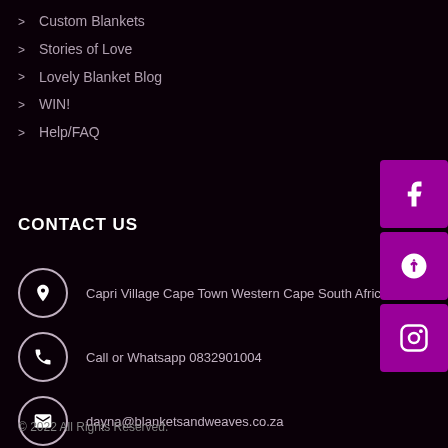> Custom Blankets
> Stories of Love
> Lovely Blanket Blog
> WIN!
> Help/FAQ
CONTACT US
Capri Village Cape Town Western Cape South Africa 7975
Call or Whatsapp 0832901004
dayna@blanketsandweaves.co.za
© 2022 All Rights Reserved.